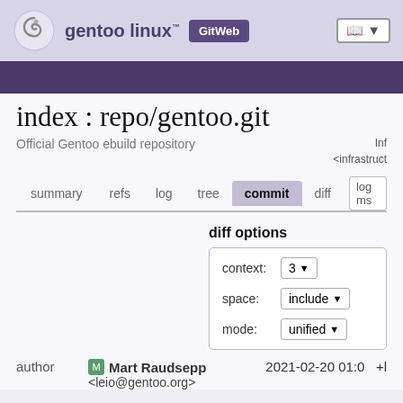[Figure (logo): Gentoo Linux logo with swirl icon, 'gentoo linux' wordmark, and 'GitWeb' button in header]
index : repo/gentoo.git
Official Gentoo ebuild repository
Inf <infrastruct
summary   refs   log   tree   commit   diff   log ms
diff options
context: 3
space: include
mode: unified
author   Mart Raudsepp <leio@gentoo.org>   2021-02-20 01:0   +1